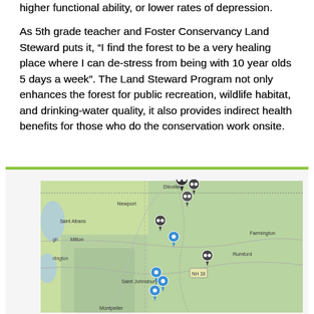higher functional ability, or lower rates of depression.
As 5th grade teacher and Foster Conservancy Land Steward puts it, “I find the forest to be a very healing place where I can de-stress from being with 10 year olds 5 days a week”. The Land Steward Program not only enhances the forest for public recreation, wildlife habitat, and drinking-water quality, it also provides indirect health benefits for those who do the conservation work onsite.
[Figure (map): A geographic map showing locations in Vermont, New Hampshire, and surrounding New England states with location pin markers (dark and blue) indicating Foster Conservancy sites. Place names visible include Dixville, Newport, Saint Albans, Milton, Burlington, Saint Johnsbury, Montpelier, Farmington, Rumford, and NH 18 highway.]